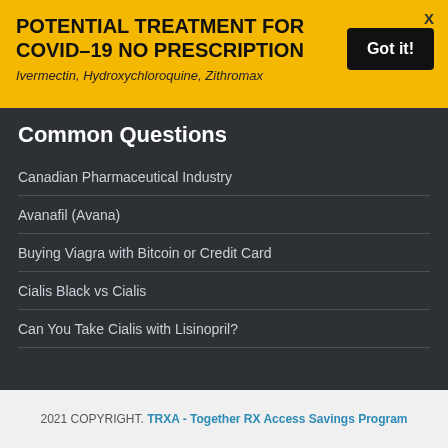POTENTIAL TREATMENT FOR COVID-19 NO PRESCRIPTION
Ivermectin, Hydroxychloroquine, Zithromax
Common Questions
Canadian Pharmaceutical Industry
Avanafil (Avana)
Buying Viagra with Bitcoin or Credit Card
Cialis Black vs Cialis
Can You Take Cialis with Lisinopril?
2021 COPYRIGHT. TRXA - Together RX Access Savings Program